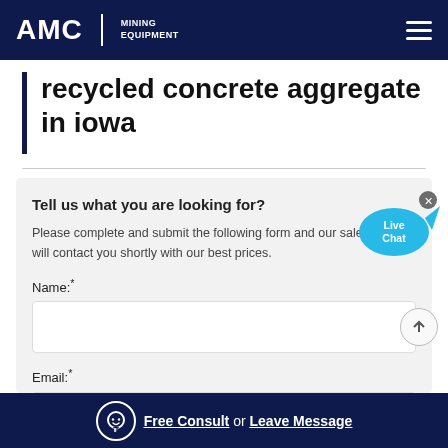AMC MINING EQUIPMENT
recycled concrete aggregate in iowa
Tell us what you are looking for?
Please complete and submit the following form and our sales team will contact you shortly with our best prices.
Name:*
Email:*
[Figure (illustration): Live Chat speech bubble widget, teal/blue color with 'Live Chat' text and a close X button]
Free Consult or Leave Message